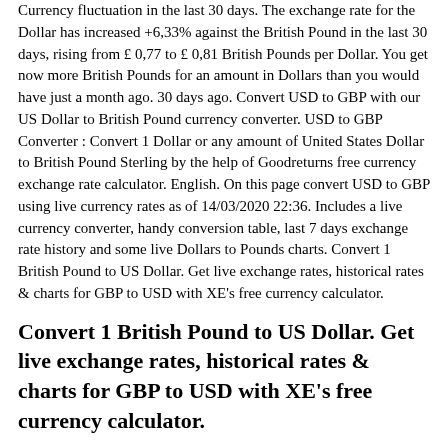Currency fluctuation in the last 30 days. The exchange rate for the Dollar has increased +6,33% against the British Pound in the last 30 days, rising from £ 0,77 to £ 0,81 British Pounds per Dollar. You get now more British Pounds for an amount in Dollars than you would have just a month ago. 30 days ago. Convert USD to GBP with our US Dollar to British Pound currency converter. USD to GBP Converter : Convert 1 Dollar or any amount of United States Dollar to British Pound Sterling by the help of Goodreturns free currency exchange rate calculator. English. On this page convert USD to GBP using live currency rates as of 14/03/2020 22:36. Includes a live currency converter, handy conversion table, last 7 days exchange rate history and some live Dollars to Pounds charts. Convert 1 British Pound to US Dollar. Get live exchange rates, historical rates & charts for GBP to USD with XE's free currency calculator.
Convert 1 British Pound to US Dollar. Get live exchange rates, historical rates & charts for GBP to USD with XE's free currency calculator.
Latest Currency Exchange Rates: 1 US Dollar = 0.8698 British Pound. On this page convert USD to GBP using live currency rates as of 19/03/2020 04:14. Dollars to Pounds: Convert Dollars to Pounds (USDGBP). Live dollar to pound exchange rates, quick and easy to use exchange calculator for converting Dollars  USD.